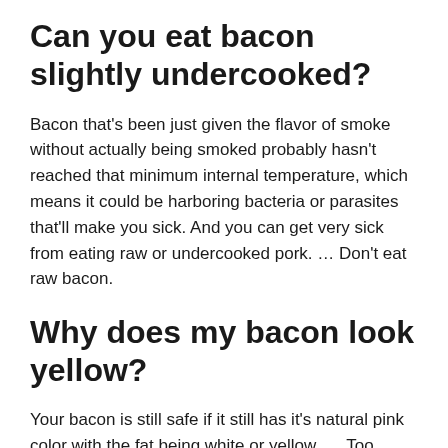Can you eat bacon slightly undercooked?
Bacon that’s been just given the flavor of smoke without actually being smoked probably hasn’t reached that minimum internal temperature, which means it could be harboring bacteria or parasites that’ll make you sick. And you can get very sick from eating raw or undercooked pork. … Don’t eat raw bacon.
Why does my bacon look yellow?
Your bacon is still safe if it still has it’s natural pink color with the fat being white or yellow. … Too much exposure to air causes a chemical reaction on the meat that causes it to change color.